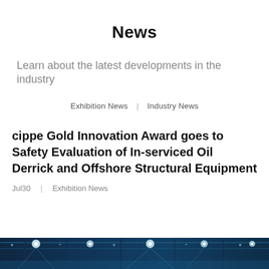News
Learn about the latest developments in the industry
Exhibition News  |  Industry News
cippe Gold Innovation Award goes to Safety Evaluation of In-serviced Oil Derrick and Offshore Structural Equipment
Jul30  |  Exhibition News
[Figure (photo): A wide decorative banner image showing a dark blue and teal lit exhibition hall or event venue with ceiling lights and structural elements visible.]